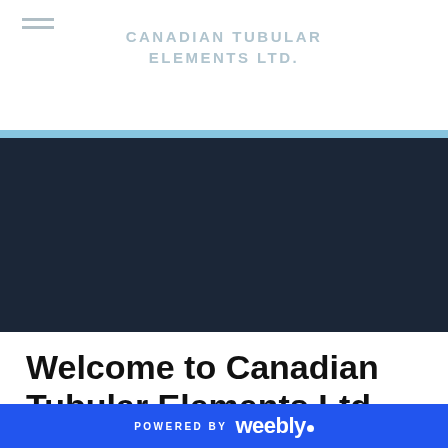CANADIAN TUBULAR ELEMENTS LTD.
[Figure (screenshot): Dark navy hero banner section of website]
Welcome to Canadian Tubular Elements Ltd.
For over 50 years we have been proudly making tubular heating elements that meet and exceed...
POWERED BY weebly